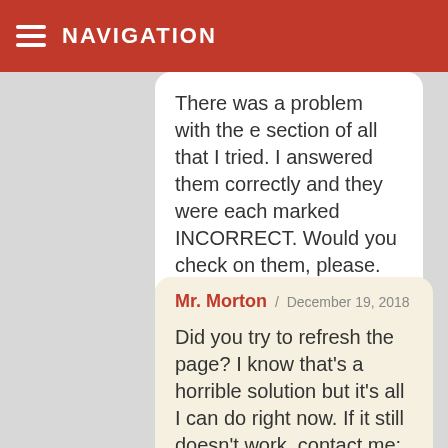NAVIGATION
There was a problem with the e section of all that I tried. I answered them correctly and they were each marked INCORRECT. Would you check on them, please.
Mr. Morton / December 19, 2018 — Did you try to refresh the page? I know that's a horrible solution but it's all I can do right now. If it still doesn't work, contact me: mortonteaches@gmail...